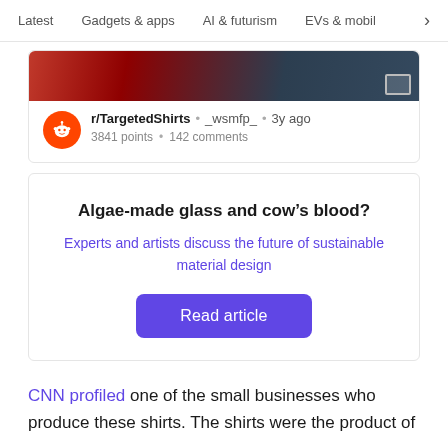Latest  Gadgets & apps  AI & futurism  EVs & mobil >
[Figure (screenshot): Partial image of a Reddit post with a photo strip at the top showing a colorful background]
r/TargetedShirts • _wsmfp_ • 3y ago
3841 points • 142 comments
Algae-made glass and cow's blood?
Experts and artists discuss the future of sustainable material design
Read article
CNN profiled one of the small businesses who produce these shirts. The shirts were the product of